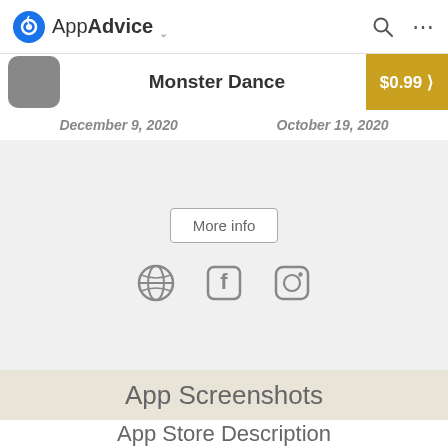AppAdvice
Monster Dance
$0.99 >
December 9, 2020   October 19, 2020
More info
[Figure (other): Social media icons: globe, Facebook, Instagram]
App Screenshots
App Store Description